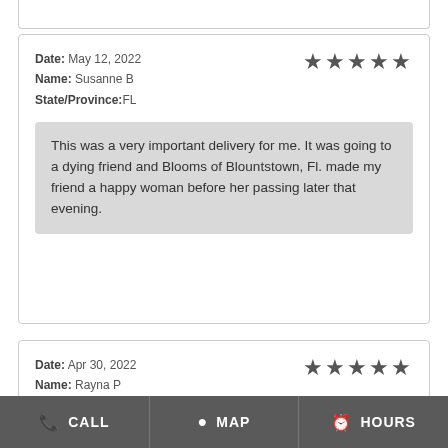Date: May 12, 2022
Name: Susanne B
State/Province: FL
★★★★★
This was a very important delivery for me. It was going to a dying friend and Blooms of Blountstown, Fl. made my friend a happy woman before her passing later that evening.
Date: Apr 30, 2022
Name: Rayna P
State/Province: CO
★★★★★
CALL   MAP   HOURS